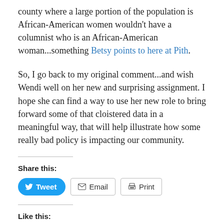county where a large portion of the population is African-American women wouldn't have a columnist who is an African-American woman...something Betsy points to here at Pith.
So, I go back to my original comment...and wish Wendi well on her new and surprising assignment. I hope she can find a way to use her new role to bring forward some of that cloistered data in a meaningful way, that will help illustrate how some really bad policy is impacting our community.
Share this:
[Figure (other): Share buttons: Tweet (blue Twitter button), Email (outlined button with envelope icon), Print (outlined button with printer icon)]
Like this:
[Figure (other): Like button with star icon]